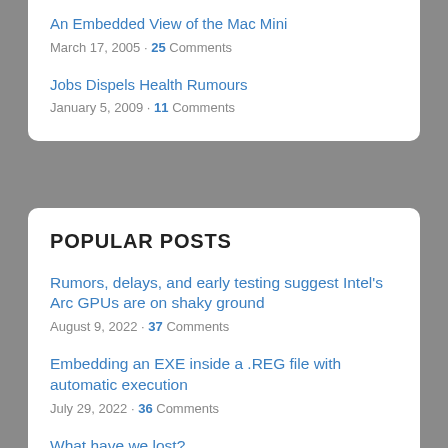An Embedded View of the Mac Mini
March 17, 2005 • 25 Comments
Jobs Dispels Health Rumours
January 5, 2009 • 11 Comments
POPULAR POSTS
Rumors, delays, and early testing suggest Intel's Arc GPUs are on shaky ground
August 9, 2022 • 37 Comments
Embedding an EXE inside a .REG file with automatic execution
July 29, 2022 • 36 Comments
What have we lost?